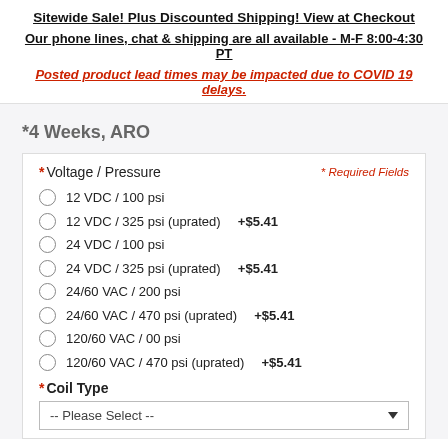Sitewide Sale! Plus Discounted Shipping! View at Checkout
Our phone lines, chat & shipping are all available - M-F 8:00-4:30 PT
Posted product lead times may be impacted due to COVID 19 delays.
*4 Weeks, ARO
*Voltage / Pressure  * Required Fields
12 VDC / 100 psi
12 VDC / 325 psi (uprated)  +$5.41
24 VDC / 100 psi
24 VDC / 325 psi (uprated)  +$5.41
24/60 VAC / 200 psi
24/60 VAC / 470 psi (uprated)  +$5.41
120/60 VAC / 00 psi
120/60 VAC / 470 psi (uprated)  +$5.41
*Coil Type
-- Please Select --